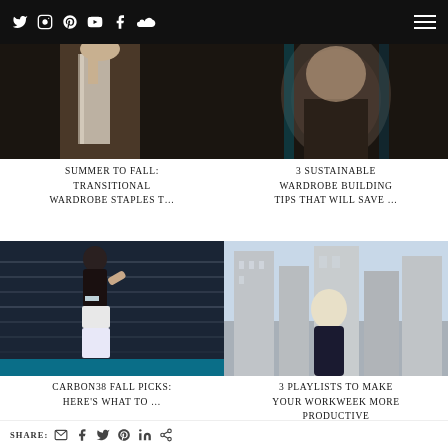Social media navigation bar with icons: Twitter, Instagram, Pinterest, YouTube, Facebook, SoundCloud, and hamburger menu
[Figure (photo): Woman in white skirt, fashion photo, dark background]
SUMMER TO FALL: TRANSITIONAL WARDROBE STAPLES T…
[Figure (photo): Person wearing textured top, dark moody background]
3 SUSTAINABLE WARDROBE BUILDING TIPS THAT WILL SAVE …
[Figure (photo): Woman running in athletic wear, store background with lights]
CARBON38 FALL PICKS: HERE'S WHAT TO …
[Figure (photo): Blonde woman standing in front of skyscrapers in city]
3 PLAYLISTS TO MAKE YOUR WORKWEEK MORE PRODUCTIVE
SHARE: [email, Facebook, Twitter, Pinterest, LinkedIn, link icons]